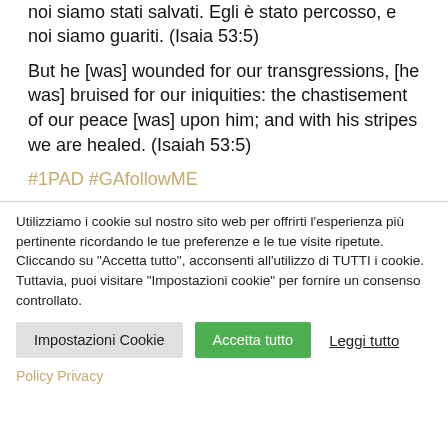noi siamo stati salvati. Egli è stato percosso, e noi siamo guariti. (Isaia 53:5)
But he [was] wounded for our transgressions, [he was] bruised for our iniquities: the chastisement of our peace [was] upon him; and with his stripes we are healed. (Isaiah 53:5)
#1PAD #GAfollowME
Utilizziamo i cookie sul nostro sito web per offrirti l'esperienza più pertinente ricordando le tue preferenze e le tue visite ripetute. Cliccando su "Accetta tutto", acconsenti all'utilizzo di TUTTI i cookie. Tuttavia, puoi visitare "Impostazioni cookie" per fornire un consenso controllato.
Impostazioni Cookie
Accetta tutto
Leggi tutto
Policy Privacy